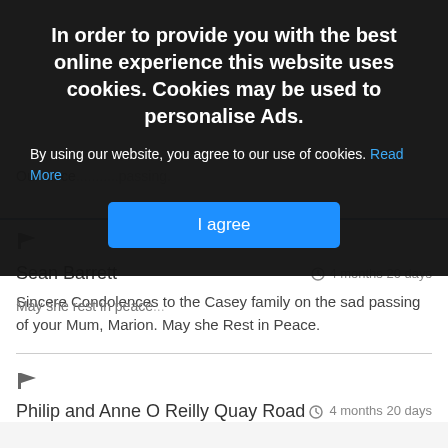[Figure (screenshot): Cookie consent overlay banner with dark background, heading, body text, and 'I agree' button]
Sean Barrett · 4 months 20 days
Sincere Condolences to the Casey family on the sad passing of your Mum, Marion. May she Rest in Peace.
Philip and Anne O Reilly Quay Road · 4 months 20 days